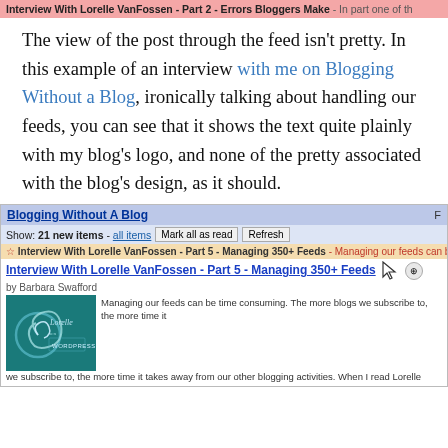Interview With Lorelle VanFossen - Part 2 - Errors Bloggers Make - In part one of th
The view of the post through the feed isn't pretty. In this example of an interview with me on Blogging Without a Blog, ironically talking about handling our feeds, you can see that it shows the text quite plainly with my blog's logo, and none of the pretty associated with the blog's design, as it should.
[Figure (screenshot): Screenshot of a feed reader showing 'Blogging Without A Blog' with 21 new items, displaying 'Interview With Lorelle VanFossen - Part 5 - Managing 350+ Feeds' post with a teal Lorelle on WordPress logo and a snippet of text about managing feeds.]